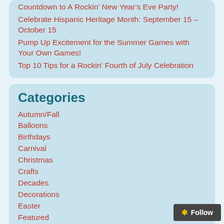Countdown to A Rockin’ New Year’s Eve Party!
Celebrate Hispanic Heritage Month: September 15 – October 15
Pump Up Excitement for the Summer Games with Your Own Games!
Top 10 Tips for a Rockin’ Fourth of July Celebration
Categories
Autumn/Fall
Balloons
Birthdays
Carnival
Christmas
Crafts
Decades
Decorations
Easter
Featured
Football